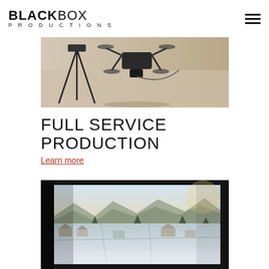BLACKBOX PRODUCTIONS
[Figure (photo): Camera/drone equipment on a white surface indoors, sepia-toned]
FULL SERVICE PRODUCTION
Learn more
[Figure (photo): Aerial drone view of a snow-covered suburban town with mountains in background, displayed on a monitor with dark frame]